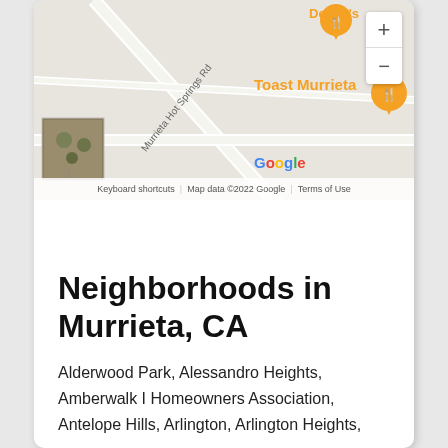[Figure (map): Google Maps screenshot showing Murrieta area with Denny's and Toast Murrieta restaurant pins, Murrieta Hot Springs Rd label, zoom controls, Google branding, satellite thumbnail, and map footer with keyboard shortcuts and copyright info.]
Neighborhoods in Murrieta, CA
Alderwood Park, Alessandro Heights, Amberwalk I Homeowners Association, Antelope Hills, Arlington, Arlington Heights,